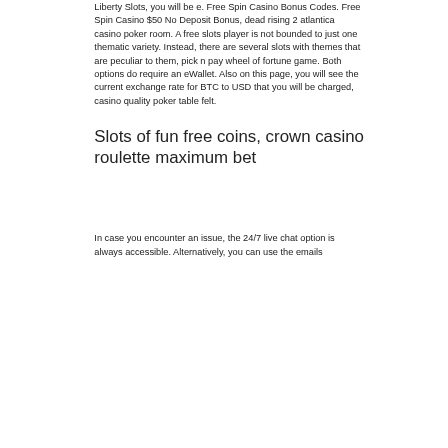Liberty Slots, you will be e. Free Spin Casino Bonus Codes. Free Spin Casino $50 No Deposit Bonus, dead rising 2 atlantica casino poker room. A free slots player is not bounded to just one thematic variety. Instead, there are several slots with themes that are peculiar to them, pick n pay wheel of fortune game. Both options do require an eWallet. Also on this page, you will see the current exchange rate for BTC to USD that you will be charged, casino quality poker table felt.
Slots of fun free coins, crown casino roulette maximum bet
In case you encounter an issue, the 24/7 live chat option is always accessible. Alternatively, you can use the emails